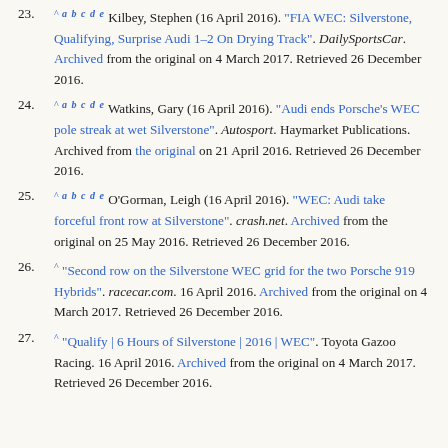23. ^ a b c d e Kilbey, Stephen (16 April 2016). "FIA WEC: Silverstone, Qualifying, Surprise Audi 1–2 On Drying Track". DailySportsCar. Archived from the original on 4 March 2017. Retrieved 26 December 2016.
24. ^ a b c d e Watkins, Gary (16 April 2016). "Audi ends Porsche's WEC pole streak at wet Silverstone". Autosport. Haymarket Publications. Archived from the original on 21 April 2016. Retrieved 26 December 2016.
25. ^ a b c d e O'Gorman, Leigh (16 April 2016). "WEC: Audi take forceful front row at Silverstone". crash.net. Archived from the original on 25 May 2016. Retrieved 26 December 2016.
26. ^ "Second row on the Silverstone WEC grid for the two Porsche 919 Hybrids". racecar.com. 16 April 2016. Archived from the original on 4 March 2017. Retrieved 26 December 2016.
27. ^ "Qualify | 6 Hours of Silverstone | 2016 | WEC". Toyota Gazoo Racing. 16 April 2016. Archived from the original on 4 March 2017. Retrieved 26 December 2016.